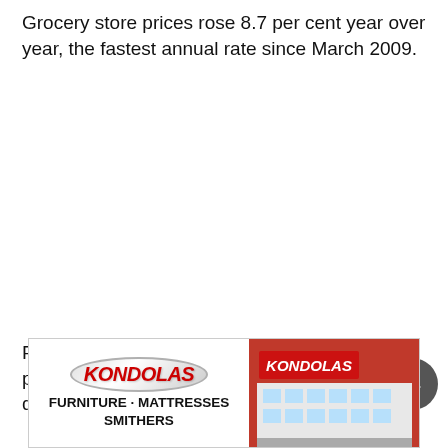Grocery store prices rose 8.7 per cent year over year, the fastest annual rate since March 2009.
Prices for dairy products and eggs rose 8.5 per cent, the largest annual increase in dairy and egg prices since
[Figure (other): Kondolas Furniture - Mattresses Smithers advertisement banner with Kondolas logo and store building image]